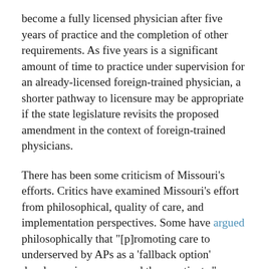become a fully licensed physician after five years of practice and the completion of other requirements. As five years is a significant amount of time to practice under supervision for an already-licensed foreign-trained physician, a shorter pathway to licensure may be appropriate if the state legislature revisits the proposed amendment in the context of foreign-trained physicians.
There has been some criticism of Missouri's efforts. Critics have examined Missouri's effort from philosophical, quality of care, and implementation perspectives. Some have argued philosophically that "[p]romoting care to underserved by APs as a 'fallback option' devalues primary care and those patients." Others have highlighted that APs may not be able to deliver the same quality of care as they "had significantly lower USMLE pass rates on all 4 Step examinations compared with the matching cohort of US medical